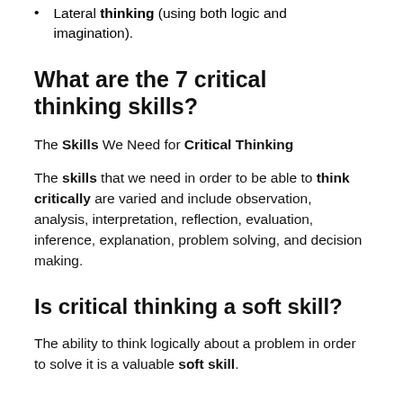Lateral thinking (using both logic and imagination).
What are the 7 critical thinking skills?
The Skills We Need for Critical Thinking
The skills that we need in order to be able to think critically are varied and include observation, analysis, interpretation, reflection, evaluation, inference, explanation, problem solving, and decision making.
Is critical thinking a soft skill?
The ability to think logically about a problem in order to solve it is a valuable soft skill.